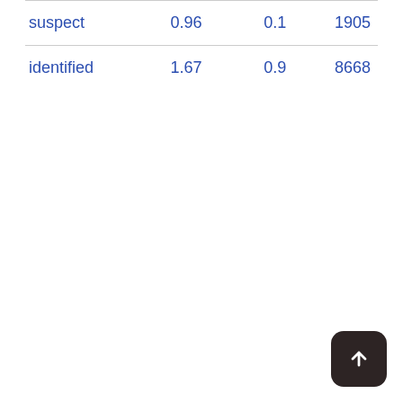| suspect | 0.96 | 0.1 | 1905 |
| identified | 1.67 | 0.9 | 8668 |